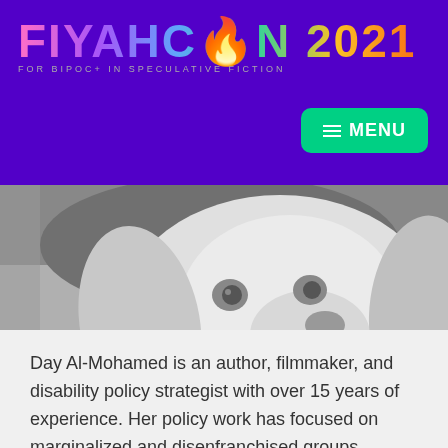FIYAHCON2021 — FOR BIPOC+ IN SPECULATIVE FICTION
[Figure (photo): Grayscale photo of a yellow Labrador retriever dog, close-up face shot with a person visible in the background]
Day Al-Mohamed is an author, filmmaker, and disability policy strategist with over 15 years of experience. Her policy work has focused on marginalized and disenfranchised groups including national initiatives to